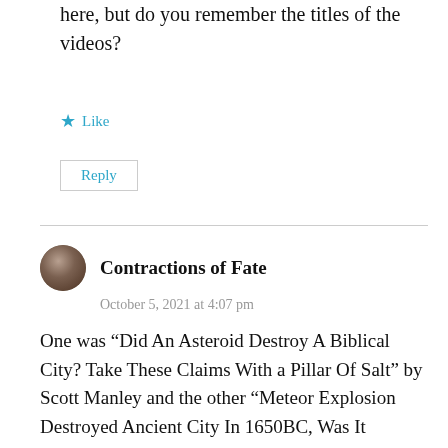here, but do you remember the titles of the videos?
Like
Reply
Contractions of Fate
October 5, 2021 at 4:07 pm
One was “Did An Asteroid Destroy A Biblical City? Take These Claims With a Pillar Of Salt” by Scott Manley and the other “Meteor Explosion Destroyed Ancient City In 1650BC, Was It Biblical Sodom?” by Anton Petrov.